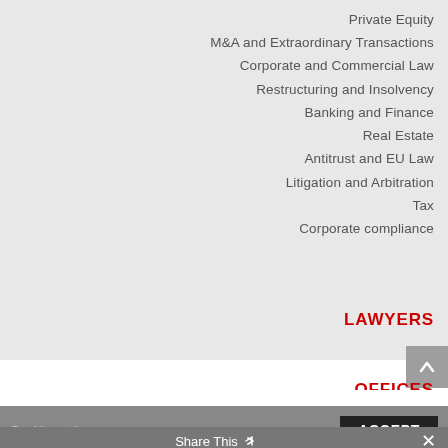Private Equity
M&A and Extraordinary Transactions
Corporate and Commercial Law
Restructuring and Insolvency
Banking and Finance
Real Estate
Antitrust and EU Law
Litigation and Arbitration
Tax
Corporate compliance
LAWYERS
OFFICES
This website uses cookies to improve your experience. We'll assume you're ok with this, but you can opt-out if you wish.
Cookie settings...
ACCEPT
Share This